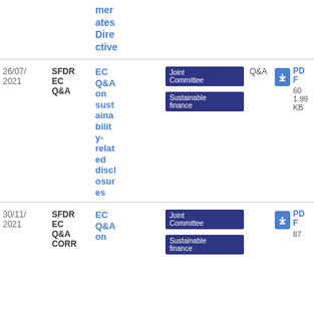| Date | Type | Title | Tags | Flag | Download |
| --- | --- | --- | --- | --- | --- |
|  |  | merates Directive | Joint Committee, Sustainable finance | Q&A | PDF |
| 26/07/2021 | SFDR EC Q&A | EC Q&A on sustainability-related disclosures | Joint Committee, Sustainable finance | Q&A | PDF 601.99 KB |
| 30/11/2021 | SFDR EC Q&A CORR | EC Q&A on... | Joint Committee, Sustainable finance |  | PDF 87 |